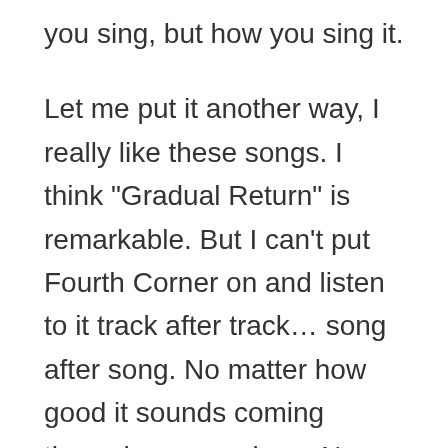you sing, but how you sing it.
Let me put it another way, I really like these songs. I think "Gradual Return" is remarkable. But I can't put Fourth Corner on and listen to it track after track… song after song. No matter how good it sounds coming through my speakers. No matter how good the playing. No matter how remarkable her voice. I just can't. I find it frustrating. I want to like the entire collection as much as I like the songs individually. The over production of her vocals and singing AND the producer's unwillingness to say "let's rein it in a bit" won't allow me to